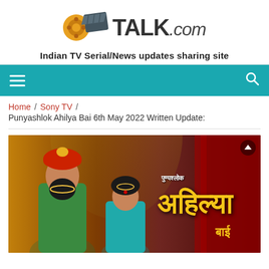[Figure (logo): SerialTalk.com logo with film reel and diamond/clapperboard icons in gold and dark grey]
Indian TV Serial/News updates sharing site
[Figure (other): Teal navigation bar with hamburger menu icon on left and search icon on right]
Home / Sony TV / 
Punyashlok Ahilya Bai 6th May 2022 Written Update:
[Figure (photo): Promotional image for Punyashlok Ahilya Bai TV show showing a man in traditional Maratha costume with beard and red turban, and a young girl in teal outfit with gold jewelry, with Devanagari text in gold reading the show name]